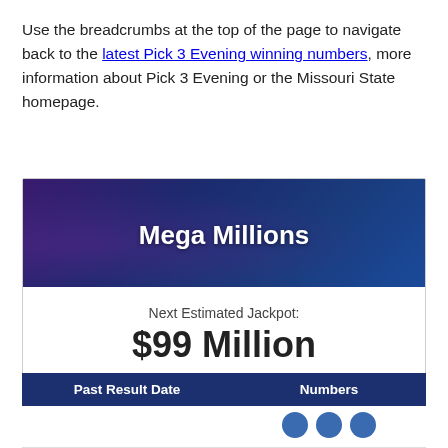Use the breadcrumbs at the top of the page to navigate back to the latest Pick 3 Evening winning numbers, more information about Pick 3 Evening or the Missouri State homepage.
[Figure (infographic): Mega Millions lottery card showing Next Estimated Jackpot of $99 Million with a Buy Tickets button]
| Past Result Date | Numbers |
| --- | --- |